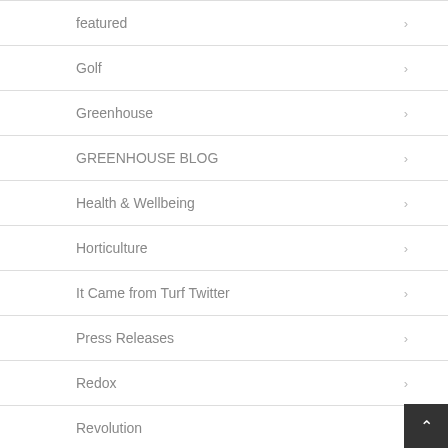featured
Golf
Greenhouse
GREENHOUSE BLOG
Health & Wellbeing
Horticulture
It Came from Turf Twitter
Press Releases
Redox
Revolution